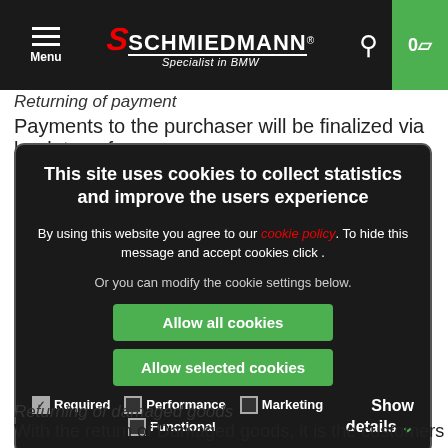Schmiedmann — Specialist in BMW
Returning of payment
Payments to the purchaser will be finalized via bank transfer
This site uses cookies to collect statistics and improve the users experience

By using this website you agree to our cookie policy. To hide this message and accept cookies click .

Or you can modify the cookie settings below.

Allow all cookies
Allow selected cookies

Required  Performance  Marketing  Functional  Show details
Returning of damaged goods
With the return of Damaged goods, it is the customers